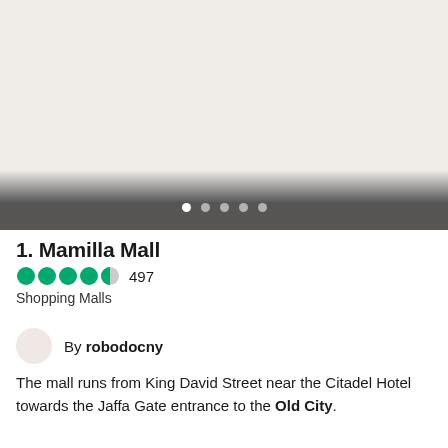[Figure (photo): Large image area with pale beige/cream background (placeholder/faded photo), dark gradient band at bottom with five pagination dots — first dot white/active, remaining four semi-transparent white/inactive.]
1. Mamilla Mall
⬤⬤⬤⬤◑ 497
Shopping Malls
By robodocny
The mall runs from King David Street near the Citadel Hotel towards the Jaffa Gate entrance to the Old City.